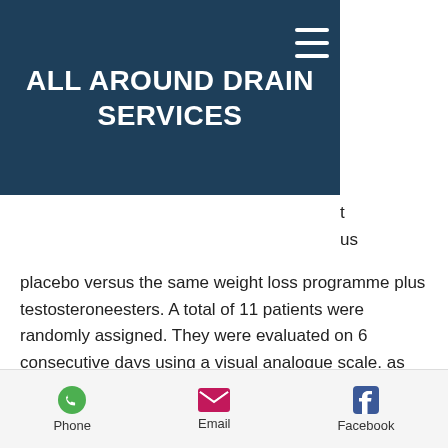ALL AROUND DRAIN SERVICES
placebo versus the same weight loss programme plus testosteroneesters. A total of 11 patients were randomly assigned. They were evaluated on 6 consecutive days using a visual analogue scale, as their baseline, and their body mass index (BMI) at the end of the study week, sarms for losing weight. The mean BMI during weight loss (before and after the weight loss intervention) was 26±5.8 (SD 10.6). The men were also evaluated on a visual analogue scale, as their mean BMI before the intervention, 24, best
Phone  Email  Facebook